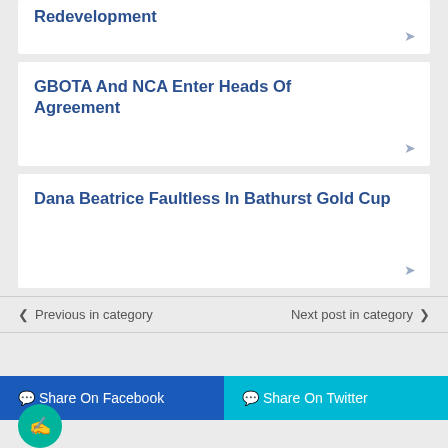Redevelopment
GBOTA And NCA Enter Heads Of Agreement
Dana Beatrice Faultless In Bathurst Gold Cup
Previous in category
Next post in category
Share On Facebook
Share On Twitter